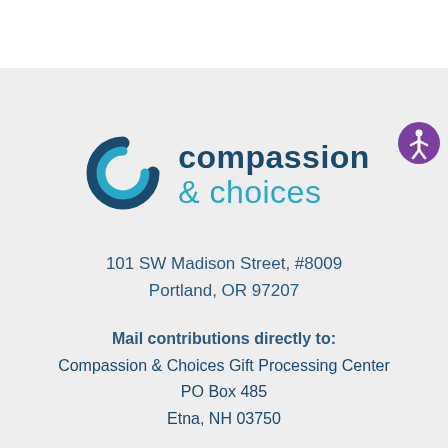[Figure (logo): Compassion & Choices logo with stylized double-C arc icon in dark teal/navy and text 'compassion & choices' in navy and cyan]
101 SW Madison Street, #8009
Portland, OR 97207
Mail contributions directly to:
Compassion & Choices Gift Processing Center
PO Box 485
Etna, NH 03750